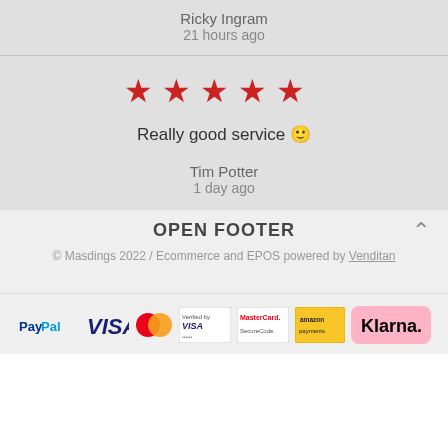Ricky Ingram
21 hours ago
[Figure (infographic): Five red star rating icons]
Really good service 🙂
Tim Potter
1 day ago
OPEN FOOTER
© Masdings 2022 / Ecommerce and EPOS powered by Venditan
[Figure (infographic): Payment method logos: PayPal, VISA, MasterCard, Verified by VISA, MasterCard SecureCode, amazon payments, Klarna]